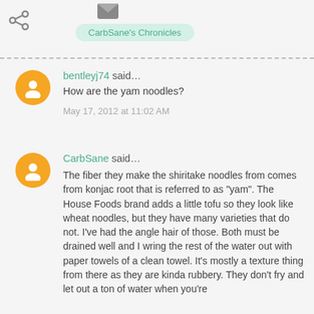[Figure (icon): Mail icon at top]
[Figure (icon): Share icon on left]
CarbSane's Chronicles
bentleyj74 said...
How are the yam noodles?
May 17, 2012 at 11:02 AM
CarbSane said...
The fiber they make the shiritake noodles from comes from konjac root that is referred to as "yam". The House Foods brand adds a little tofu so they look like wheat noodles, but they have many varieties that do not. I've had the angle hair of those. Both must be drained well and I wring the rest of the water out with paper towels of a clean towel. It's mostly a texture thing from there as they are kinda rubbery. They don't fry and let out a ton of water when you're